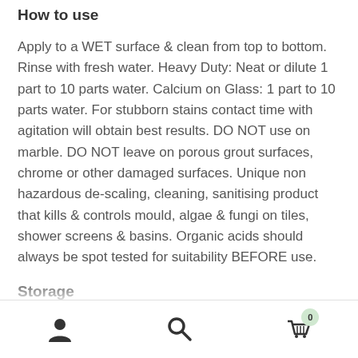How to use
Apply to a WET surface & clean from top to bottom. Rinse with fresh water. Heavy Duty: Neat or dilute 1 part to 10 parts water. Calcium on Glass: 1 part to 10 parts water. For stubborn stains contact time with agitation will obtain best results. DO NOT use on marble. DO NOT leave on porous grout surfaces, chrome or other damaged surfaces. Unique non hazardous de-scaling, cleaning, sanitising product that kills & controls mould, algae & fungi on tiles, shower screens & basins. Organic acids should always be spot tested for suitability BEFORE use.
Storage
Store in an airtight container in a cool, dry place, aw...